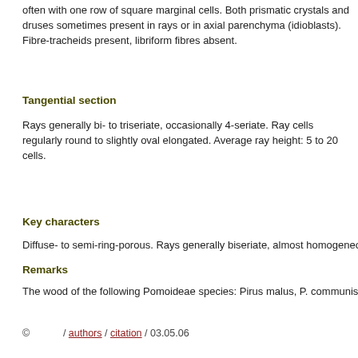often with one row of square marginal cells. Both prismatic crystals and druses sometimes present in rays or in axial parenchyma (idioblasts). Fibre-tracheids present, libriform fibres absent.
Tangential section
Rays generally bi- to triseriate, occasionally 4-seriate. Ray cells regularly round to slightly oval elongated. Average ray height: 5 to 20 cells.
Key characters
Diffuse- to semi-ring-porous. Rays generally biseriate, almost homogeneous. Simple perforation pla
Remarks
The wood of the following Pomoideae species: Pirus malus, P. communis, Crataegus sp. and Cydo
© / authors / citation / 03.05.06